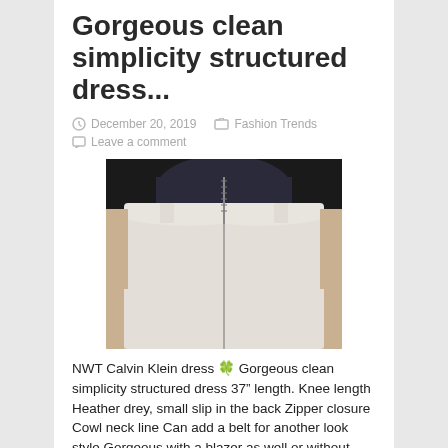Gorgeous clean simplicity structured dress...
December 20, 2019   Fashion Trends
Leave a comment
[Figure (photo): Back view of a white Calvin Klein dress on a dress form, showing zipper detail at back and cowl neckline area.]
NWT Calvin Klein dress 🍀 Gorgeous clean simplicity structured dress 37" length. Knee length Heather drey, small slip in the back Zipper closure Cowl neck line Can add a belt for another look style Gorgeous with a blazer as well or without With simple pumps or flats. Dresses Midi
Read More »